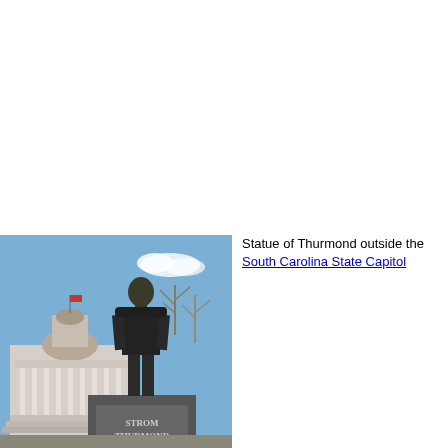[Figure (photo): Bronze statue of Strom Thurmond standing on a granite pedestal inscribed 'STROM THURMOND', with the South Carolina State Capitol building visible in the background under a blue sky.]
Statue of Thurmond outside the South Carolina State Capitol
In the 1948 presidential election, Thurmond ran for president as a third party candidate for States' Rights Democratic Party, which was formed by White southern Democrats who split from the national party over the threat of federal intervention in state affairs regarding segregation and Jim Crow. Thurmond's supporters took control of the Democratic Party in the Deep South. President Truman was not included on the presidential ballot in Alabama